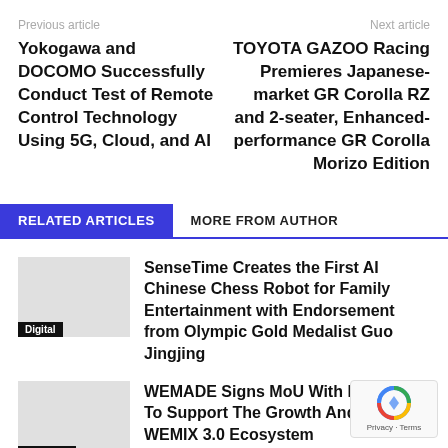Previous article | Next article
Yokogawa and DOCOMO Successfully Conduct Test of Remote Control Technology Using 5G, Cloud, and AI
TOYOTA GAZOO Racing Premieres Japanese-market GR Corolla RZ and 2-seater, Enhanced-performance GR Corolla Morizo Edition
RELATED ARTICLES | MORE FROM AUTHOR
SenseTime Creates the First AI Chinese Chess Robot for Family Entertainment with Endorsement from Olympic Gold Medalist Guo Jingjing
WEMADE Signs MoU With Blockda To Support The Growth And Devel Of WEMIX 3.0 Ecosystem